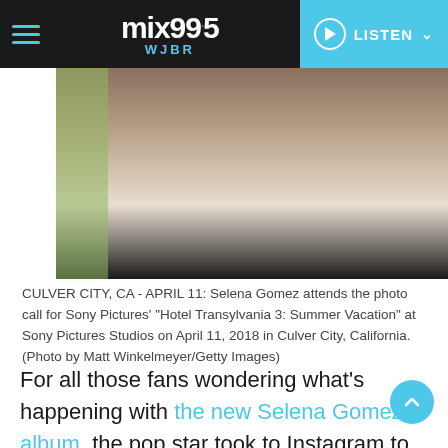mix99.5 WJBR — LISTEN
[Figure (photo): Photo of Selena Gomez from shoulders up, wearing a white floral dress, brown hair, taken at Sony Pictures Studios]
CULVER CITY, CA - APRIL 11: Selena Gomez attends the photo call for Sony Pictures' "Hotel Transylvania 3: Summer Vacation" at Sony Pictures Studios on April 11, 2018 in Culver City, California. (Photo by Matt Winkelmeyer/Getty Images)
For all those fans wondering what's happening with the new Selena Gomez album, the pop star took to Instagram to give some answers.